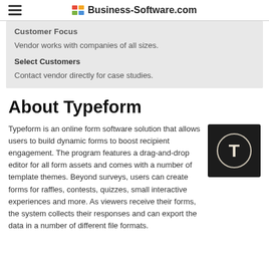Business-Software.com
Customer Focus
Vendor works with companies of all sizes.
Select Customers
Contact vendor directly for case studies.
About Typeform
Typeform is an online form software solution that allows users to build dynamic forms to boost recipient engagement. The program features a drag-and-drop editor for all form assets and comes with a number of template themes. Beyond surveys, users can create forms for raffles, contests, quizzes, small interactive experiences and more. As viewers receive their forms, the system collects their responses and can export the data in a number of different file formats.
[Figure (logo): Typeform logo: dark square with a circle and the letter T in white]